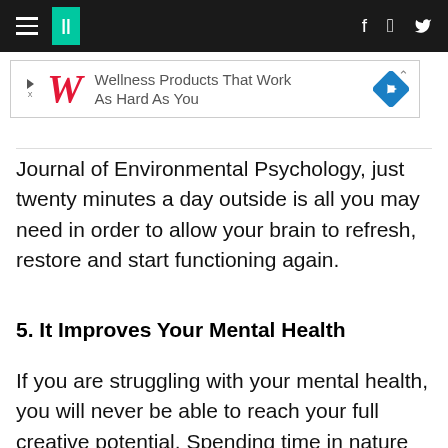HuffPost navigation header with hamburger menu, logo, facebook and twitter icons
[Figure (other): Advertisement banner: Walgreens logo with text 'Wellness Products That Work As Hard As You' and a blue diamond navigation icon]
Journal of Environmental Psychology, just twenty minutes a day outside is all you may need in order to allow your brain to refresh, restore and start functioning again.
5. It Improves Your Mental Health
If you are struggling with your mental health, you will never be able to reach your full creative potential. Spending time in nature can help boost your mood and improve your overall mental well-being.